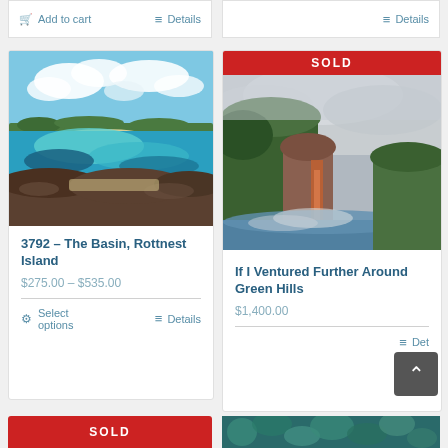[Figure (screenshot): E-commerce product listing page showing art prints for sale in a two-column grid layout. Partial top bar with Add to cart and Details buttons visible. Two main product cards shown: left card with photo of The Basin, Rottnest Island (coastal scene) priced $275.00-$535.00; right card marked SOLD with painting 'If I Ventured Further Around Green Hills' priced $1,400.00. Partial bottom row with SOLD banner and abstract teal pattern. Back-to-top button visible.]